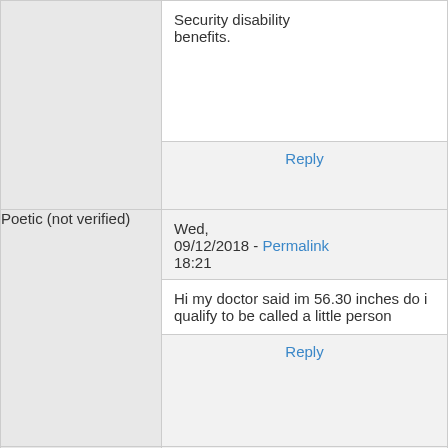| Author | Content |
| --- | --- |
|  | Security disability benefits.
Reply |
| Poetic (not verified) | Wed, 09/12/2018 - Permalink 18:21
Hi my doctor said im 56.30 inches do i qualify to be called a little person
Reply |
| Eric | Thu, 09/13/2018 - Permalink 14:35
Hi There,

Your height alone won't qualify you for Social Security disability |